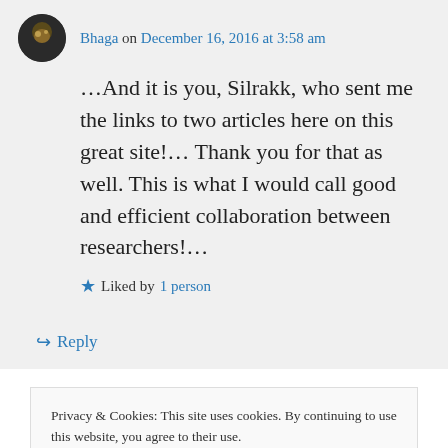Bhaga on December 16, 2016 at 3:58 am
…And it is you, Silrakk, who sent me the links to two articles here on this great site!… Thank you for that as well. This is what I would call good and efficient collaboration between researchers!…
★ Liked by 1 person
↪ Reply
Privacy & Cookies: This site uses cookies. By continuing to use this website, you agree to their use. To find out more, including how to control cookies, see here: Cookie Policy
Close and accept
L Boyce on December 29, 2016 at 1:04 am